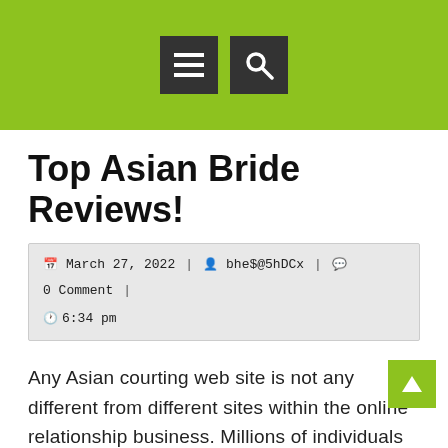Top Asian Bride Reviews! — website header with menu and search icons
Top Asian Bride Reviews!
March 27, 2022 | bhe$@5hDCx | 0 Comment | 6:34 pm
Any Asian courting web site is not any different from different sites within the online relationship business. Millions of individuals go to any relationship site every single day and do not expertise any problems. Divorced Asian brides are not able to find a person of their nation. In most Asian international locations, society has a very negative perspective in path of divorce, so if a man